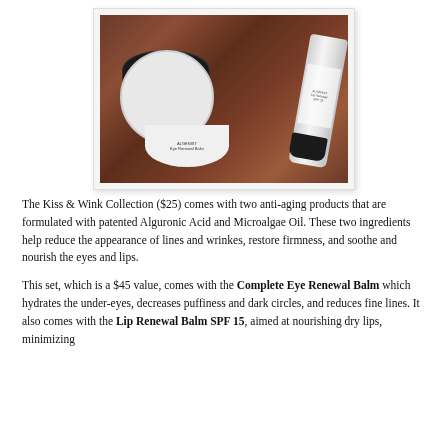[Figure (photo): Photo of two Algenist skincare products on a wooden surface: a round jar (Complete Eye Renewal Balm) and a tube (Lip Renewal Balm SPF 15)]
The Kiss & Wink Collection ($25) comes with two anti-aging products that are formulated with patented Alguronic Acid and Microalgae Oil. These two ingredients help reduce the appearance of lines and wrinkes, restore firmness, and soothe and nourish the eyes and lips.
This set, which is a $45 value, comes with the Complete Eye Renewal Balm which hydrates the under-eyes, decreases puffiness and dark circles, and reduces fine lines. It also comes with the Lip Renewal Balm SPF 15, aimed at nourishing dry lips, minimizing